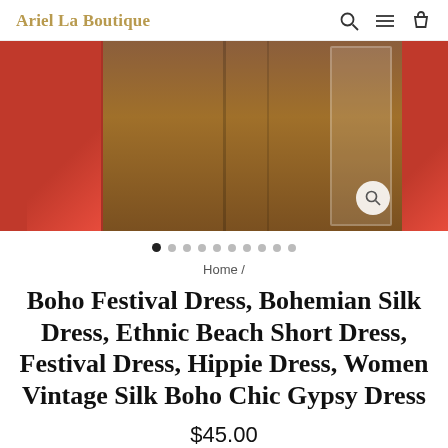Ariel La Boutique
[Figure (photo): Product photo carousel showing a red/pink boho dress displayed near wooden furniture and doors]
[Figure (other): Carousel navigation dots, 10 dots total, first dot active]
Home /
Boho Festival Dress, Bohemian Silk Dress, Ethnic Beach Short Dress, Festival Dress, Hippie Dress, Women Vintage Silk Boho Chic Gypsy Dress
$45.00
Shipping calculated at checkout.